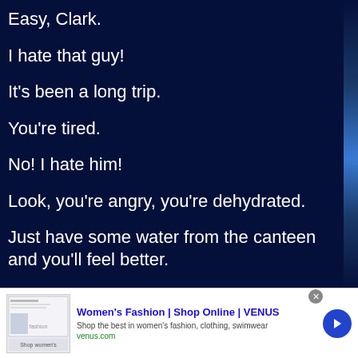Easy, Clark.
I hate that guy!
It's been a long trip.
You're tired.
No! I hate him!
Look, you're angry, you're dehydrated.
Just have some water from the canteen and you'll feel better.
Okay.
[Figure (screenshot): Advertisement banner for Women's Fashion | Shop Online | VENUS from venus.com with thumbnail image, title, description, and arrow button]